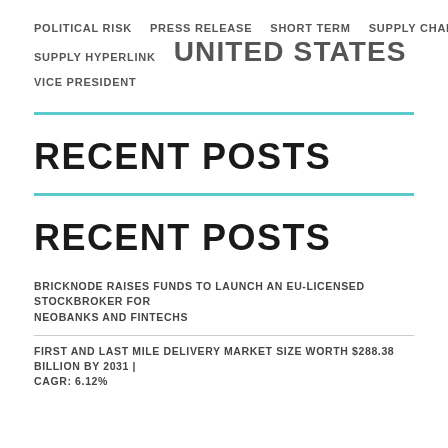POLITICAL RISK   PRESS RELEASE   SHORT TERM   SUPPLY CHAINS
SUPPLY HYPERLINK   UNITED STATES
VICE PRESIDENT
RECENT POSTS
RECENT POSTS
BRICKNODE RAISES FUNDS TO LAUNCH AN EU-LICENSED STOCKBROKER FOR NEOBANKS AND FINTECHS
FIRST AND LAST MILE DELIVERY MARKET SIZE WORTH $288.38 BILLION BY 2031 | CAGR: 6.12%